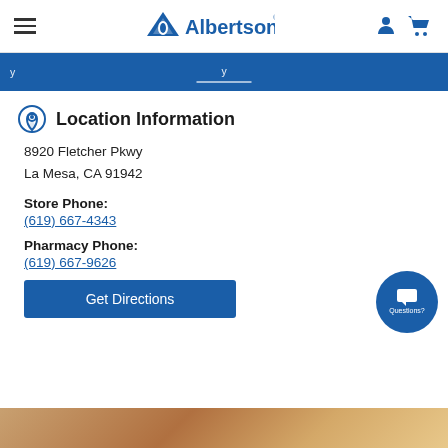Albertsons
[Figure (screenshot): Blue promotional banner strip with white text and underline]
Location Information
8920 Fletcher Pkwy
La Mesa, CA 91942
Store Phone:
(619) 667-4343
Pharmacy Phone:
(619) 667-9626
Get Directions
[Figure (photo): Bottom strip showing a partial photo with warm brown tones]